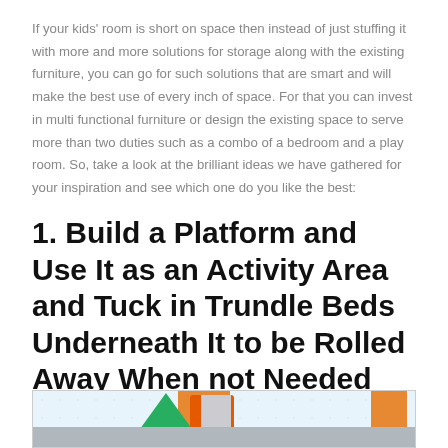If your kids' room is short on space then instead of just stuffing it with more and more solutions for storage along with the existing furniture, you can go for such solutions that are smart and will make the best use of every inch of space. For that you can invest in multi functional furniture or design the existing space to serve more than two duties such as a combo of a bedroom and a play room. So, take a look at the brilliant ideas we have gathered for your inspiration and see which one do you like the best:
1. Build a Platform and Use It as an Activity Area and Tuck in Trundle Beds Underneath It to be Rolled Away When not Needed
[Figure (photo): A children's room interior showing colorful orange curtains/blinds on windows, a speckled white wall, a green tent/canopy on the floor, and blue/light colored walls in the background.]